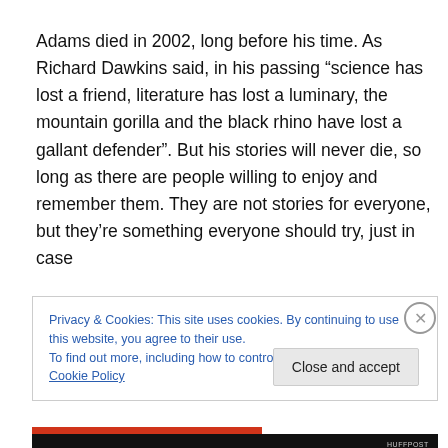Adams died in 2002, long before his time. As Richard Dawkins said, in his passing “science has lost a friend, literature has lost a luminary, the mountain gorilla and the black rhino have lost a gallant defender”. But his stories will never die, so long as there are people willing to enjoy and remember them. They are not stories for everyone, but they’re something everyone should try, just in case
Privacy & Cookies: This site uses cookies. By continuing to use this website, you agree to their use.
To find out more, including how to control cookies, see here: Cookie Policy